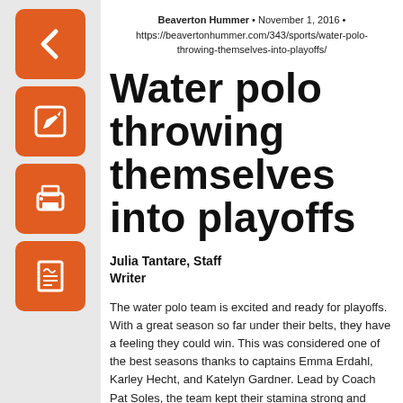Beaverton Hummer • November 1, 2016 • https://beavertonhummer.com/343/sports/water-polo-throwing-themselves-into-playoffs/
Water polo throwing themselves into playoffs
Julia Tantare, Staff Writer
The water polo team is excited and ready for playoffs. With a great season so far under their belts, they have a feeling they could win. This was considered one of the best seasons thanks to captains Emma Erdahl, Karley Hecht, and Katelyn Gardner. Lead by Coach Pat Soles, the team kept their stamina strong and came away with many wins and ending